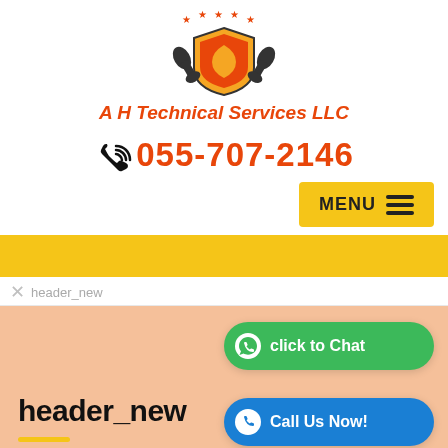[Figure (logo): A H Technical Services LLC logo with shield, wrench icons, and stars]
A H Technical Services LLC
055-707-2146
MENU
header_new
header_new
click to Chat
Call Us Now!